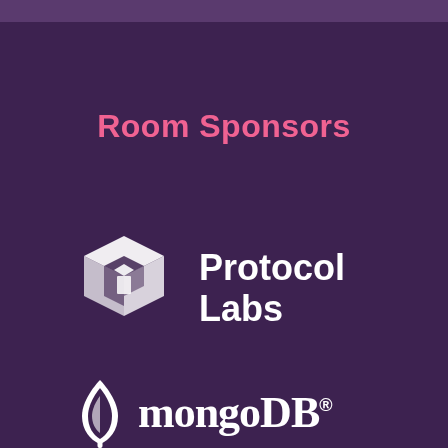Room Sponsors
[Figure (logo): Protocol Labs logo — white 3D hexagonal box icon with stylized arrow/cube design, next to bold white text 'Protocol Labs']
[Figure (logo): MongoDB logo — white leaf/flame icon next to white text 'mongoDB.' in mixed serif font]